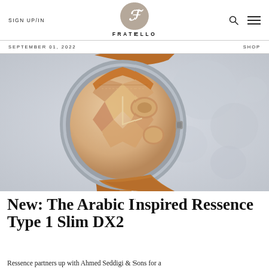SIGN UP/IN | FRATELLO | SHOP
SEPTEMBER 01, 2022
[Figure (photo): Close-up photo of a Ressence Type 1 Slim DX2 watch with a rose gold geometric dial and tan leather strap on a light grey background with soft shadow patterns]
New: The Arabic Inspired Ressence Type 1 Slim DX2
Ressence partners up with Ahmed Seddigi & Sons for a